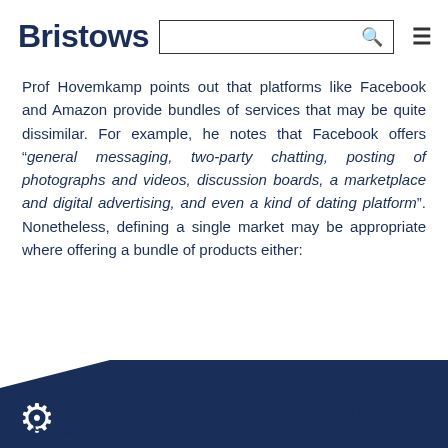Bristows
Prof Hovemkamp points out that platforms like Facebook and Amazon provide bundles of services that may be quite dissimilar. For example, he notes that Facebook offers “general messaging, two-party chatting, posting of photographs and videos, discussion boards, a marketplace and digital advertising, and even a kind of dating platform”. Nonetheless, defining a single market may be appropriate where offering a bundle of products either:
reduces the platform’s costs as a result of joint costs or economies of scope; or